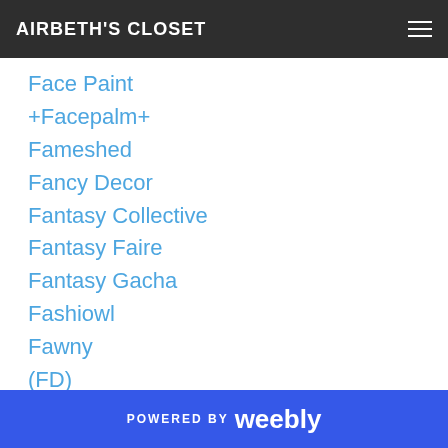AIRBETH'S CLOSET
Face Paint
+Facepalm+
Fameshed
Fancy Decor
Fantasy Collective
Fantasy Faire
Fantasy Gacha
Fashiowl
Fawny
(FD)
Felicity
Femboy Hunt 13
Ferd's Tattoo
!Ferina
FFL S|
POWERED BY weebly